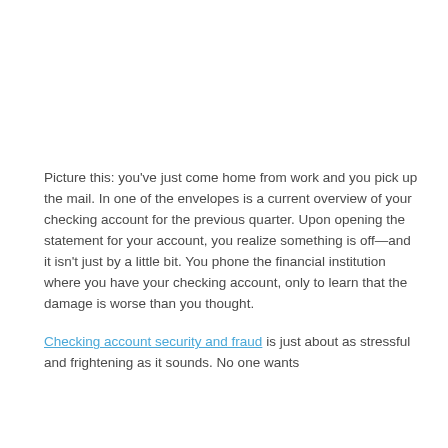Picture this: you've just come home from work and you pick up the mail. In one of the envelopes is a current overview of your checking account for the previous quarter. Upon opening the statement for your account, you realize something is off—and it isn't just by a little bit. You phone the financial institution where you have your checking account, only to learn that the damage is worse than you thought.
Checking account security and fraud is just about as stressful and frightening as it sounds. No one wants